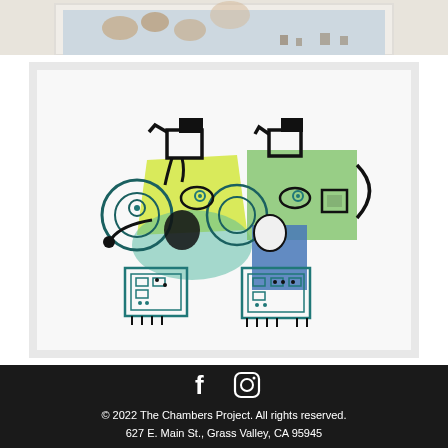[Figure (photo): Partial view of a framed artwork at top, showing figures with warm brownish tones on a light blue background]
[Figure (photo): Framed abstract artwork with colorful cartoon-like figures rendered in black marker lines with yellow-green and blue watercolor fills, showing two face-like creatures with circular eye elements and rectangular body parts, with teal patterned blocks at bottom]
© 2022 The Chambers Project. All rights reserved.
627 E. Main St., Grass Valley, CA 95945